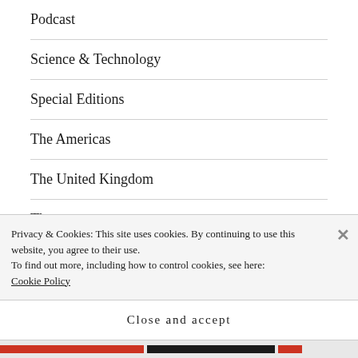Podcast
Science & Technology
Special Editions
The Americas
The United Kingdom
Theory
Uncategorized
Weekly Editions
Privacy & Cookies: This site uses cookies. By continuing to use this website, you agree to their use.
To find out more, including how to control cookies, see here:
Cookie Policy
Close and accept